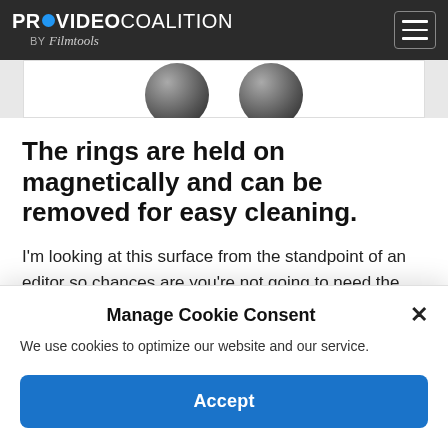PROVIDEO COALITION BY Filmtools
[Figure (photo): Partial view of dark round knobs/rings on a white/light gray surface, cropped at the top]
The rings are held on magnetically and can be removed for easy cleaning.
I'm looking at this surface from the standpoint of an editor so chances are you're not going to need the control surface out all the time as
Manage Cookie Consent
We use cookies to optimize our website and our service.
Accept